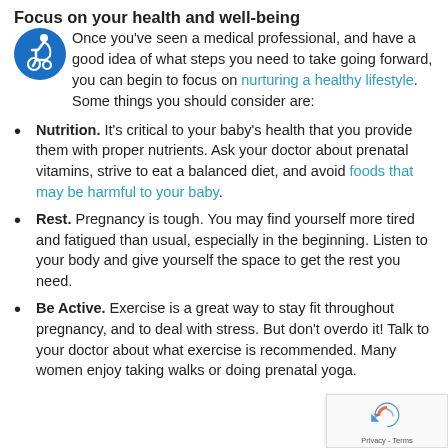Focus on your health and well-being
Once you've seen a medical professional, and have a good idea of what steps you need to take going forward, you can begin to focus on nurturing a healthy lifestyle. Some things you should consider are:
Nutrition. It's critical to your baby's health that you provide them with proper nutrients. Ask your doctor about prenatal vitamins, strive to eat a balanced diet, and avoid foods that may be harmful to your baby.
Rest. Pregnancy is tough. You may find yourself more tired and fatigued than usual, especially in the beginning. Listen to your body and give yourself the space to get the rest you need.
Be Active. Exercise is a great way to stay fit throughout pregnancy, and to deal with stress. But don't overdo it! Talk to your doctor about what exercise is recommended. Many women enjoy taking walks or doing prenatal yoga.